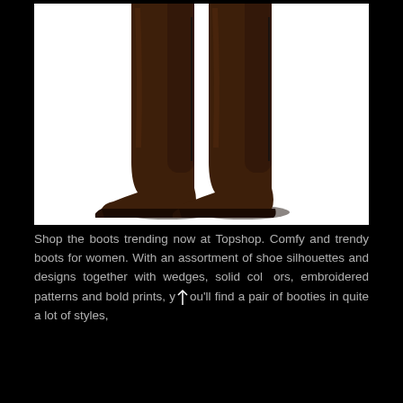[Figure (photo): A pair of tall dark brown leather riding boots with zipper on the side, shown from approximately the knee down on a white background.]
Shop the boots trending now at Topshop. Comfy and trendy boots for women. With an assortment of shoe silhouettes and designs together with wedges, solid colors, embroidered patterns and bold prints, you'll find a pair of booties in quite a lot of styles,